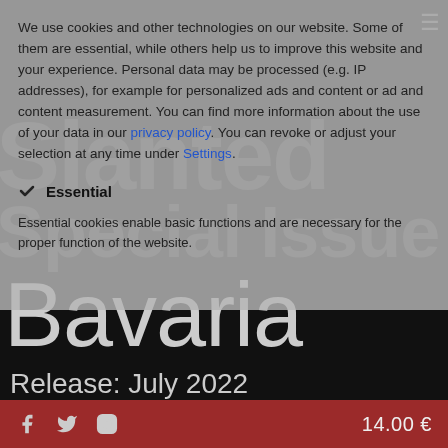[Figure (screenshot): Website screenshot showing a cookie consent overlay on top of a magazine product page for 'Slanted Special Issue Bavaria'. The background shows large text 'Slanted', 'Special Issue', 'Bavaria', 'Release: July 2022', and partial 'Volume...' text on a dark background. A semi-transparent grey cookie consent dialog covers the top portion. A dark red footer bar contains social media icons (Facebook, Twitter, Instagram) and price '14.00 €'.]
We use cookies and other technologies on our website. Some of them are essential, while others help us to improve this website and your experience. Personal data may be processed (e.g. IP addresses), for example for personalized ads and content or ad and content measurement. You can find more information about the use of your data in our privacy policy. You can revoke or adjust your selection at any time under Settings.
✓ Essential
Essential cookies enable basic functions and are necessary for the proper function of the website.
Slanted
Special Issue
Bavaria
Release: July 2022
Volume: 100 pages
14.00 €